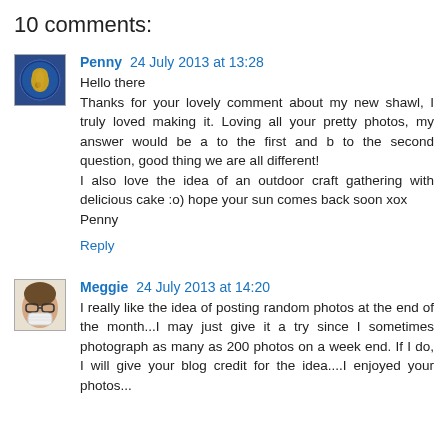10 comments:
Penny 24 July 2013 at 13:28
Hello there
Thanks for your lovely comment about my new shawl, I truly loved making it. Loving all your pretty photos, my answer would be a to the first and b to the second question, good thing we are all different!
I also love the idea of an outdoor craft gathering with delicious cake :o) hope your sun comes back soon xox
Penny
Reply
Meggie 24 July 2013 at 14:20
I really like the idea of posting random photos at the end of the month...I may just give it a try since I sometimes photograph as many as 200 photos on a week end. If I do, I will give your blog credit for the idea....I enjoyed your photos...